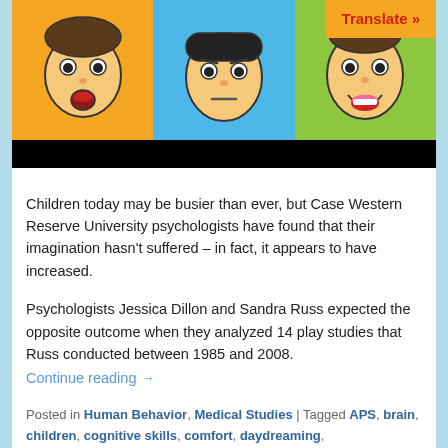[Figure (illustration): Three cartoon faces side by side on colored backgrounds (orange, blue, green) showing different emotions — surprised/scared, neutral/angry, happy — with a black bar below. A 'Translate »' button overlays the top-right corner.]
Children today may be busier than ever, but Case Western Reserve University psychologists have found that their imagination hasn't suffered – in fact, it appears to have increased.
Psychologists Jessica Dillon and Sandra Russ expected the opposite outcome when they analyzed 14 play studies that Russ conducted between 1985 and 2008.
Continue reading →
Posted in Human Behavior, Medical Studies | Tagged APS, brain, children, cognitive skills, comfort, daydreaming, emotional, emotions, imagination, increases, Jessica